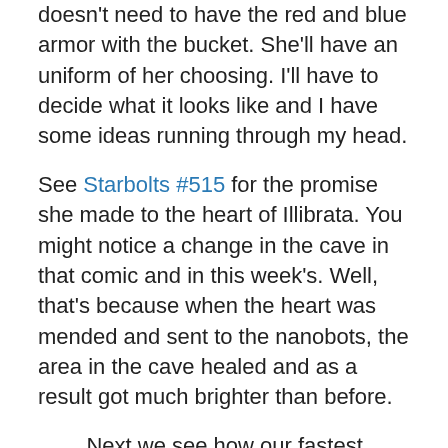doesn't need to have the red and blue armor with the bucket. She'll have an uniform of her choosing. I'll have to decide what it looks like and I have some ideas running through my head.
See Starbolts #515 for the promise she made to the heart of Illibrata. You might notice a change in the cave in that comic and in this week's. Well, that's because when the heart was mended and sent to the nanobots, the area in the cave healed and as a result got much brighter than before.
Next we see how our fastest man alive, Marcus is doing. He's doing pretty well all things considered. Don't get me wrong. There were probably nights where he was very restless. Thankfully, Crystal is on hand to help her boyfriend in any way. She's with him through thick and